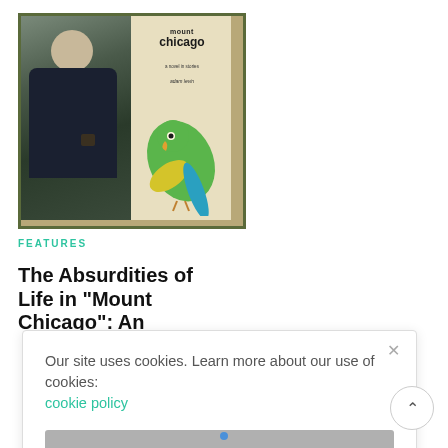[Figure (photo): Composite image: left side shows a man wearing glasses and a dark jacket holding a cup, standing against a stone wall; right side shows a book cover for 'mount CHICAGO' with a green parrot illustration and author name. Image has a dark olive/tan border.]
FEATURES
The Absurdities of Life in “Mount Chicago”: An
Our site uses cookies. Learn more about our use of cookies: cookie policy
I ACCEPT USE OF COOKIES